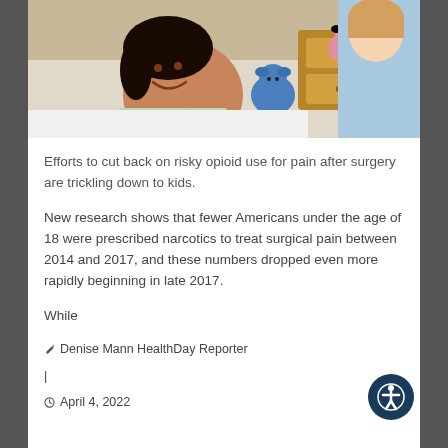[Figure (photo): A young girl lying in a hospital bed smiling, with a healthcare worker leaning over her. Stuffed animals and a wooden dresser are visible in the background.]
Efforts to cut back on risky opioid use for pain after surgery are trickling down to kids.
New research shows that fewer Americans under the age of 18 were prescribed narcotics to treat surgical pain between 2014 and 2017, and these numbers dropped even more rapidly beginning in late 2017.
While
✏ Denise Mann HealthDay Reporter
|
⊙ April 4, 2022